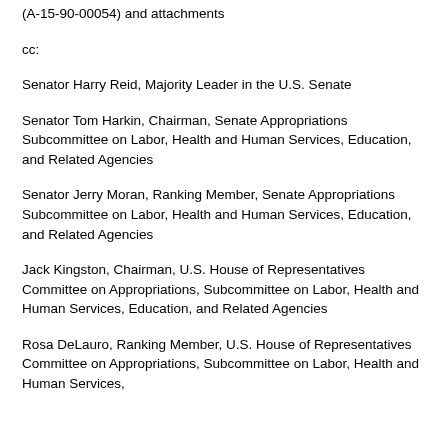(A-15-90-00054) and attachments
cc:
Senator Harry Reid, Majority Leader in the U.S. Senate
Senator Tom Harkin, Chairman, Senate Appropriations Subcommittee on Labor, Health and Human Services, Education, and Related Agencies
Senator Jerry Moran, Ranking Member, Senate Appropriations Subcommittee on Labor, Health and Human Services, Education, and Related Agencies
Jack Kingston, Chairman, U.S. House of Representatives Committee on Appropriations, Subcommittee on Labor, Health and Human Services, Education, and Related Agencies
Rosa DeLauro, Ranking Member, U.S. House of Representatives Committee on Appropriations, Subcommittee on Labor, Health and Human Services,